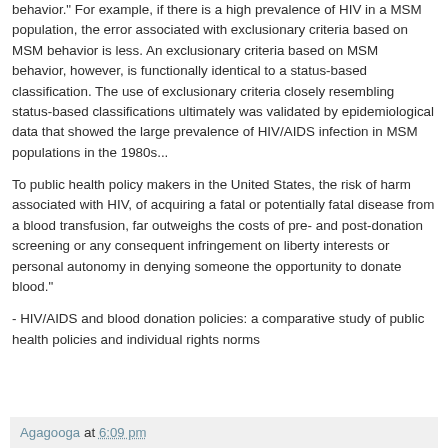behavior." For example, if there is a high prevalence of HIV in a MSM population, the error associated with exclusionary criteria based on MSM behavior is less. An exclusionary criteria based on MSM behavior, however, is functionally identical to a status-based classification. The use of exclusionary criteria closely resembling status-based classifications ultimately was validated by epidemiological data that showed the large prevalence of HIV/AIDS infection in MSM populations in the 1980s...
To public health policy makers in the United States, the risk of harm associated with HIV, of acquiring a fatal or potentially fatal disease from a blood transfusion, far outweighs the costs of pre- and post-donation screening or any consequent infringement on liberty interests or personal autonomy in denying someone the opportunity to donate blood."
- HIV/AIDS and blood donation policies: a comparative study of public health policies and individual rights norms
Agagooga at 6:09 pm